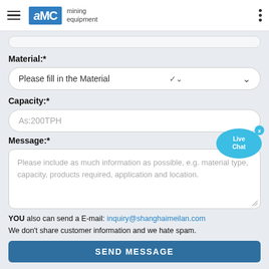AMC mining equipment
Material:*
Please fill in the Material
Capacity:*
As:200TPH
[Figure (illustration): Live Chat speech bubble widget in blue with an x close button]
Message:*
Please include as much information as possible, e.g. material type, capacity, products required, application and location.
YOU also can send a E-mail: inquiry@shanghaimeilan.com
We don't share customer information and we hate spam.
SEND MESSAGE